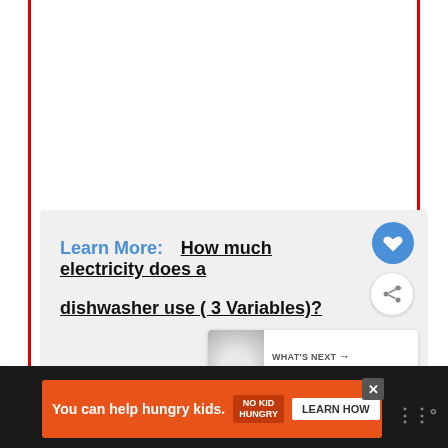Learn More:   How much electricity does a dishwasher use ( 3 Variables)?
[Figure (screenshot): WHAT'S NEXT panel with thumbnail image and text 'Can you use heavy...']
[Figure (screenshot): Advertisement banner: 'You can help hungry kids. NO KID HUNGRY LEARN HOW' with close button]